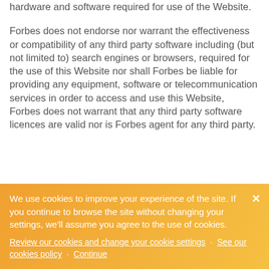hardware and software required for use of the Website.
Forbes does not endorse nor warrant the effectiveness or compatibility of any third party software including (but not limited to) search engines or browsers, required for the use of this Website nor shall Forbes be liable for providing any equipment, software or telecommunication services in order to access and use this Website, Forbes does not warrant that any third party software licences are valid nor is Forbes agent for any third party.
We use cookies to improve your experience of the site. If you continue to browse the site without changing your settings, we'll assume you agree to the use of cookies.
Review our cookies and change your cookie settings · See our cookies policy · Continue